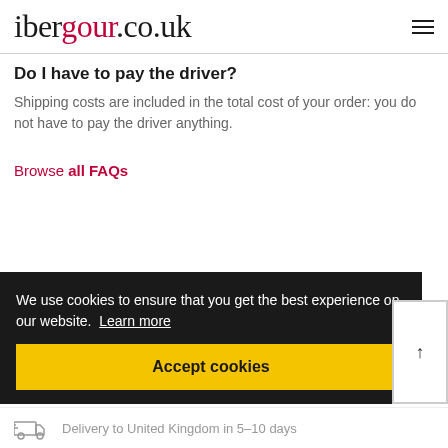ibergour.co.uk
Do I have to pay the driver?
Shipping costs are included in the total cost of your order: you do not have to pay the driver anything.
Browse all FAQs
We use cookies to ensure that you get the best experience on our website. Learn more
Accept cookies
Delivery to United Kingdom in 5-10 days